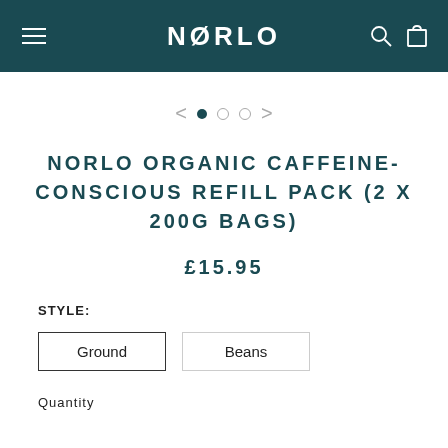NØRLO
[Figure (other): Carousel navigation with left arrow, three dots (one filled, two empty), and right arrow]
NORLO ORGANIC CAFFEINE-CONSCIOUS REFILL PACK (2 X 200G BAGS)
£15.95
STYLE:
Ground
Beans
Quantity